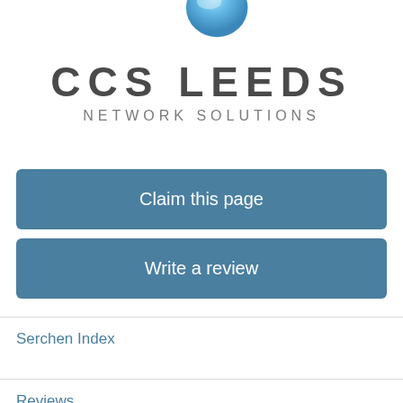[Figure (logo): CCS Leeds Network Solutions logo with a blue globe/sphere graphic above the company name text]
Claim this page
Write a review
Serchen Index
Reviews